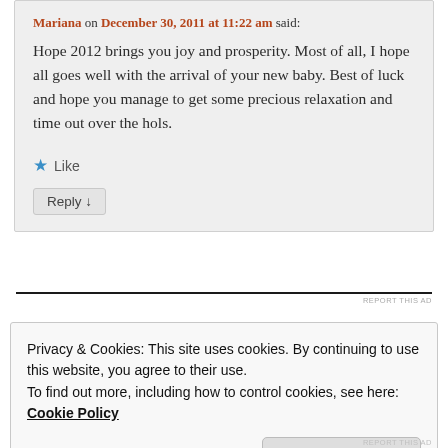Mariana on December 30, 2011 at 11:22 am said:
Hope 2012 brings you joy and prosperity. Most of all, I hope all goes well with the arrival of your new baby. Best of luck and hope you manage to get some precious relaxation and time out over the hols.
★ Like
Reply ↓
REPORT THIS AD
Privacy & Cookies: This site uses cookies. By continuing to use this website, you agree to their use.
To find out more, including how to control cookies, see here: Cookie Policy
Close and accept
REPORT THIS AD